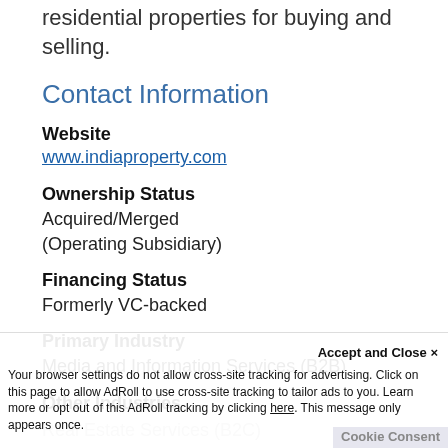residential properties for buying and selling.
Contact Information
Website
www.indiaproperty.com
Ownership Status
Acquired/Merged (Operating Subsidiary)
Financing Status
Formerly VC-backed
Primary Industry
Media and Information Services (B2B)
Other Industries
Real Estate Services (B2C)
Accept and Close ×
Your browser settings do not allow cross-site tracking for advertising. Click on this page to allow AdRoll to use cross-site tracking to tailor ads to you. Learn more or opt out of this AdRoll tracking by clicking here. This message only appears once.